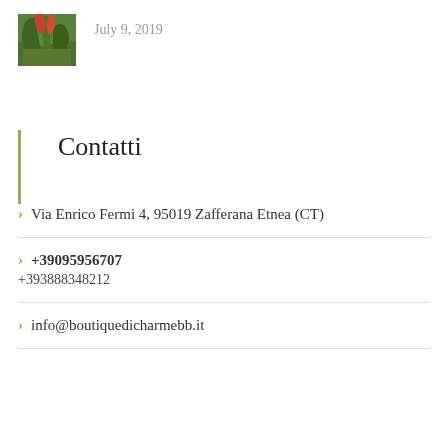[Figure (photo): Small thumbnail photo of tropical garden with red flowers and green foliage]
July 9, 2019
Contatti
Via Enrico Fermi 4, 95019 Zafferana Etnea (CT)
+39095956707
+393888348212
info@boutiquedicharmebb.it